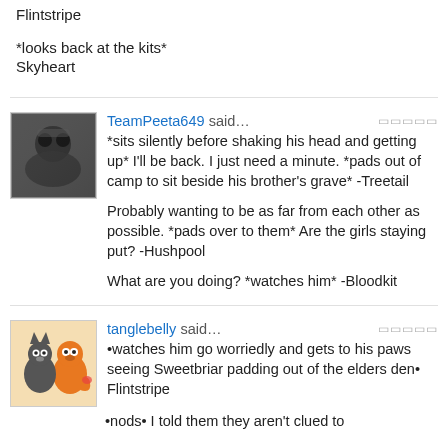*looks back at the kits*
Skyheart
TeamPeeta649 said… *sits silently before shaking his head and getting up* I'll be back. I just need a minute. *pads out of camp to sit beside his brother's grave* -Treetail

Probably wanting to be as far from each other as possible. *pads over to them* Are the girls staying put? -Hushpool

What are you doing? *watches him* -Bloodkit
tanglebelly said… •watches him go worriedly and gets to his paws seeing Sweetbriar padding out of the elders den•
Flintstripe

•nods• I told them they aren't clued to...